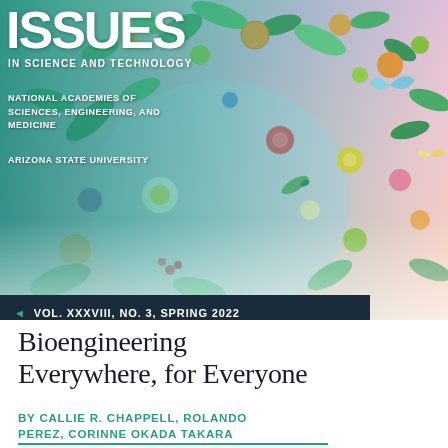[Figure (illustration): Colorful botanical illustration cover image with fruits, flowers, leaves and butterflies on a gradient teal-to-pink background. Left portion has teal gradient overlay. Magazine cover for Issues in Science and Technology.]
ISSUES IN SCIENCE AND TECHNOLOGY
NATIONAL ACADEMIES OF SCIENCES, ENGINEERING, AND MEDICINE
ARIZONA STATE UNIVERSITY
◄ VOL. XXXVIII, NO. 3, SPRING 2022
Bioengineering Everywhere, for Everyone
BY CALLIE R. CHAPPELL, ROLANDO PEREZ, CORINNE OKADA TAKARA